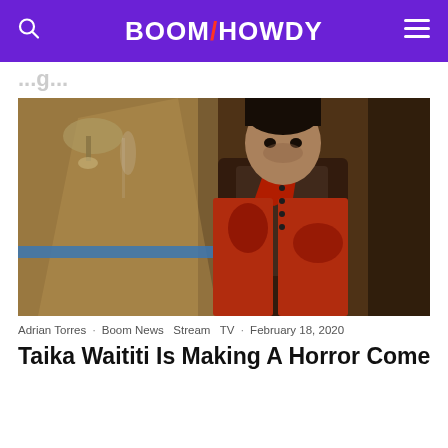BOOM/HOWDY
Taika Waititi Is Making A Horror Comedy Series
[Figure (photo): A man in a blood-stained Victorian-style outfit with a red cravat and brown vest, standing in a dimly lit interior. Likely a still from 'What We Do in the Shadows'.]
Adrian Torres · Boom News  Stream  TV · February 18, 2020
Taika Waititi Is Making A Horror Comedy Series